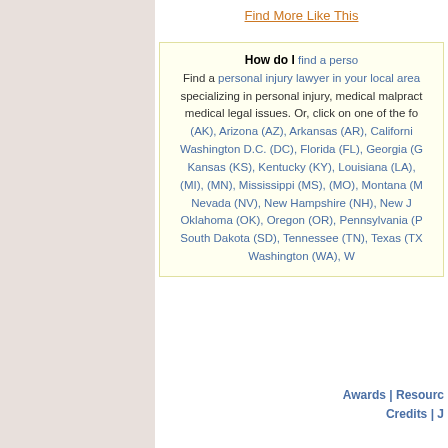Find More Like This
How do I find a personal injury lawyer in your local area specializing in personal injury, medical malpractice, medical legal issues. Or, click on one of the following states: (AK), Arizona (AZ), Arkansas (AR), California, Washington D.C. (DC), Florida (FL), Georgia (G...), Kansas (KS), Kentucky (KY), Louisiana (LA), ..., (MI), (MN), Mississippi (MS), (MO), Montana (M...), Nevada (NV), New Hampshire (NH), New J..., Oklahoma (OK), Oregon (OR), Pennsylvania (P...), South Dakota (SD), Tennessee (TN), Texas (TX...), Washington (WA), W...
Awards | Resources | Credits | J...